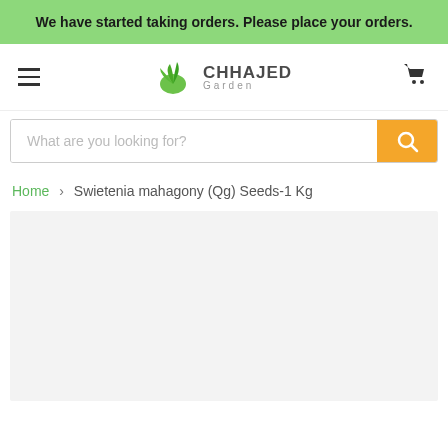We have started taking orders. Please place your orders.
[Figure (logo): Chhajed Garden logo with green leaf icon and text 'CHHAJED Garden']
What are you looking for?
Home > Swietenia mahagony (Qg) Seeds-1 Kg
[Figure (photo): Product image placeholder area with light grey background]